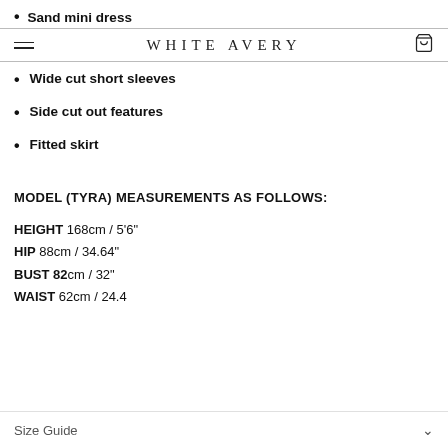Sand mini dress
WHITE AVERY
Wide cut short sleeves
Side cut out features
Fitted skirt
MODEL (TYRA) MEASUREMENTS AS FOLLOWS:
HEIGHT 168cm / 5'6"
HIP 88cm / 34.64"
BUST 82cm / 32"
WAIST 62cm / 24.4
Size Guide